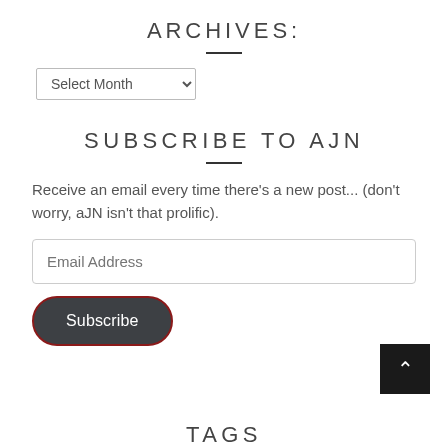ARCHIVES:
Select Month
SUBSCRIBE TO AJN
Receive an email every time there's a new post... (don't worry, aJN isn't that prolific).
Email Address
Subscribe
TAGS